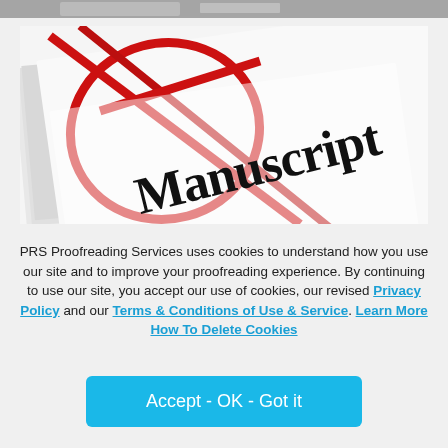[Figure (photo): Partial photo of document/book at top edge (cropped, barely visible)]
[Figure (photo): Close-up photo of a white manuscript document tied with a red string/ribbon, with the word 'Manuscript' printed in large bold serif font across the white paper, slightly angled perspective]
PRS Proofreading Services uses cookies to understand how you use our site and to improve your proofreading experience. By continuing to use our site, you accept our use of cookies, our revised Privacy Policy and our Terms & Conditions of Use & Service. Learn More How To Delete Cookies
Accept - OK - Got it